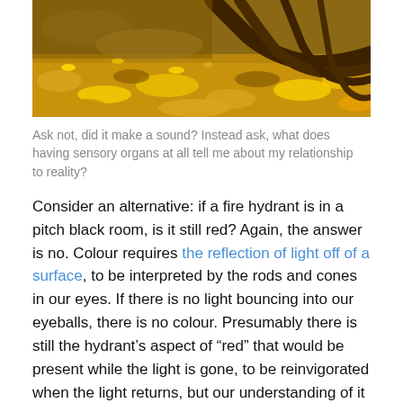[Figure (photo): Photograph of autumn leaves and tree roots on the ground, with golden yellow and brown fallen leaves scattered across the forest floor and gnarled tree roots visible.]
Ask not, did it make a sound? Instead ask, what does having sensory organs at all tell me about my relationship to reality?
Consider an alternative: if a fire hydrant is in a pitch black room, is it still red? Again, the answer is no. Colour requires the reflection of light off of a surface, to be interpreted by the rods and cones in our eyes. If there is no light bouncing into our eyeballs, there is no colour. Presumably there is still the hydrant’s aspect of “red” that would be present while the light is gone, to be reinvigorated when the light returns, but our understanding of it as red is so far removed from its objective aspect that to call it “red” is a misnomer and used only for the sake of comprehensibility. It’s not difficult to imagine a different